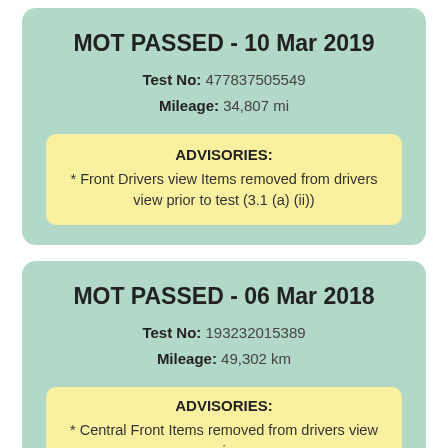MOT PASSED - 10 Mar 2019
Test No: 477837505549
Mileage: 34,807 mi
ADVISORIES:
* Front Drivers view Items removed from drivers view prior to test (3.1 (a) (ii))
MOT PASSED - 06 Mar 2018
Test No: 193232015389
Mileage: 49,302 km
ADVISORIES:
* Central Front Items removed from drivers view prior